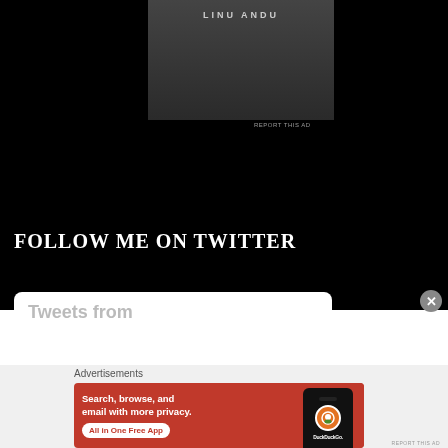[Figure (screenshot): Dark advertisement banner with gray gradient background, partially visible title text at top]
REPORT THIS AD
FOLLOW ME ON TWITTER
Tweets from
Advertisements
[Figure (screenshot): DuckDuckGo advertisement on orange/red background: 'Search, browse, and email with more privacy. All in One Free App' with phone image showing DuckDuckGo logo]
REPORT THIS AD